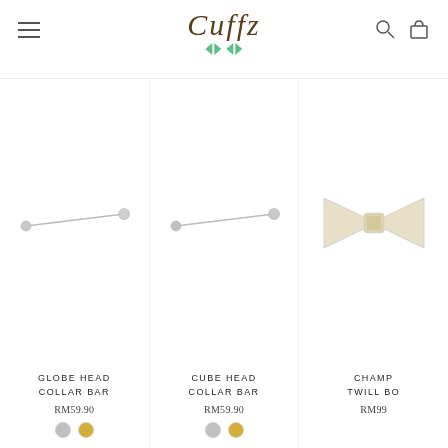Cuffz
[Figure (photo): Globe Head Collar Bar product photo - a thin silver bar with ball ends on white background]
GLOBE HEAD COLLAR BAR
RM59.90
[Figure (photo): Cube Head Collar Bar product photo - a thin silver bar with ball ends on white background]
CUBE HEAD COLLAR BAR
RM59.90
[Figure (photo): Champagne Twill Bow Tie product photo - cream/ivory colored bow tie on white background]
CHAMP TWILL BO
RM99